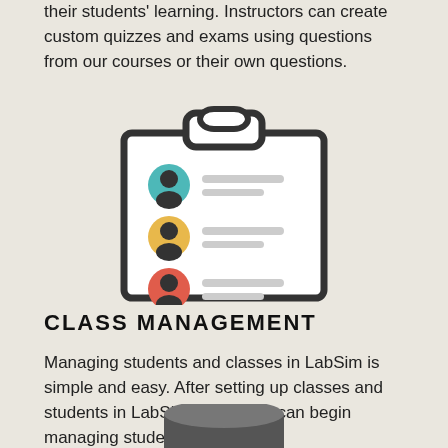their students' learning. Instructors can create custom quizzes and exams using questions from our courses or their own questions.
[Figure (illustration): Clipboard icon with three person/avatar icons (teal, yellow, red) and grey lines representing a list of students]
CLASS MANAGEMENT
Managing students and classes in LabSim is simple and easy. After setting up classes and students in LabSim, educators can begin managing student learning.
[Figure (illustration): Bottom portion of a database/cylinder icon in dark grey]